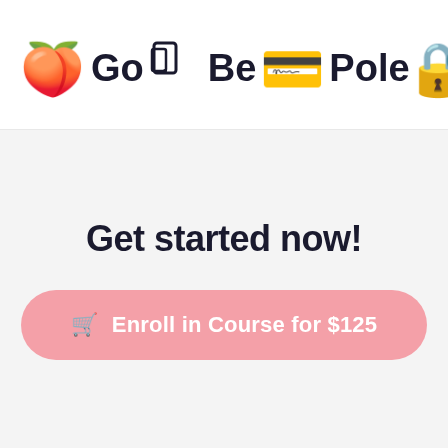[Figure (logo): GoBePole logo with peach emoji, mobile/tablet icon, credit card emoji, lock+key emoji, award ribbon emoji, and money bag emoji arranged in a header bar]
Get started now!
🛒  Enroll in Course for $125